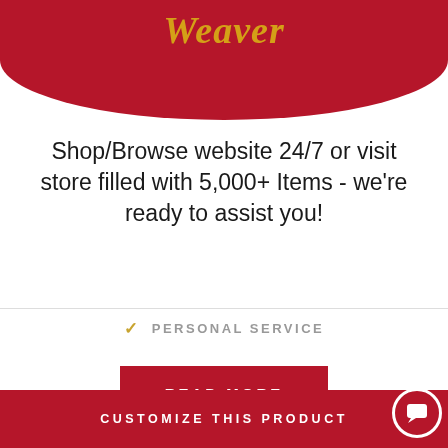[Figure (logo): Weaver brand logo text in gold italic script on dark red rounded header background]
Shop/Browse website 24/7 or visit store filled with 5,000+ Items - we're ready to assist you!
✓  PERSONAL SERVICE
[Figure (other): READ MORE button — dark red rectangle with white uppercase text]
Back to top
CUSTOMIZE THIS PRODUCT